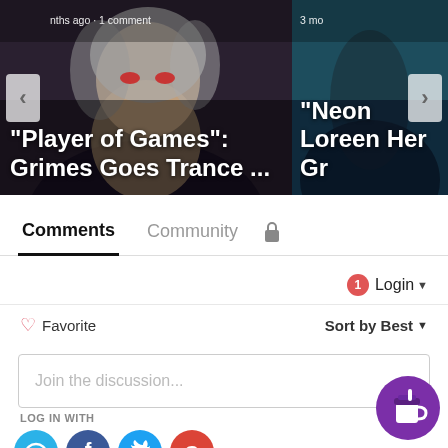[Figure (screenshot): Carousel card showing a woman with silver hair and red eyes - article about 'Player of Games: Grimes Goes Trance ...' with note 'months ago · 1 comment']
[Figure (screenshot): Carousel card (partially visible, right side) showing article '"Neon Loreen Her Gr...' with '3 mo' timestamp]
Comments | Community | [lock icon]
1   Login ▾
♡ Favorite   Sort by Best ▾
Join the discussion...
LOG IN WITH
[Figure (logo): Social login icons: Disqus (D), Facebook (f), Twitter bird, Google (G)]
[Figure (illustration): Purple circle coffee cup button (Buy Me a Coffee widget) in bottom right corner]